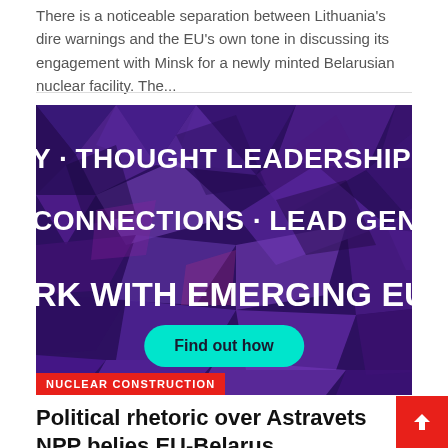There is a noticeable separation between Lithuania's dire warnings and the EU's own tone in discussing its engagement with Minsk for a newly minted Belarusian nuclear facility. The...
[Figure (illustration): Advertisement banner with purple geometric polygon background. Text reads: 'Y · THOUGHT LEADERSHIP · MARK' / 'CONNECTIONS · LEAD GENERATION' / 'RK WITH EMERGING EUR'. Contains a teal 'Find out how' button and a red 'NUCLEAR CONSTRUCTION' tag at the bottom left.]
Political rhetoric over Astravets NPP belies EU-Belarus cooperation